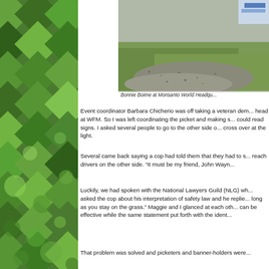[Figure (photo): Outdoor photo showing gravel path and grass, partially visible, with a sign in the upper right corner. Caption references Bonnie Boime at Monsanto World Headquarters.]
Bonnie Boime at Monsanto World Headqu...
Event coordinator Barbara Chicherio was off taking a veteran dem... head at WFM. So I was left coordinating the picket and making s... could read signs. I asked several people to go to the other side o... cross over at the light.
Several came back saying a cop had told them that they had to s... reach drivers on the other side. “It must be my friend, John Wayn...
Luckily, we had spoken with the National Lawyers Guild (NLG) wh... asked the cop about his interpretation of safety law and he replie... long as you stay on the grass.” Maggie and I glanced at each oth... can be effective while the same statement put forth with the ident...
That problem was solved and picketers and banner-holders were...